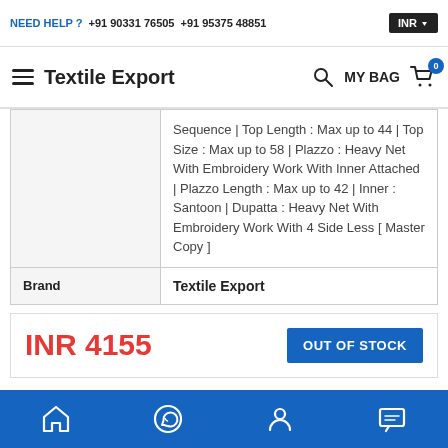NEED HELP ? +91 90331 76505   +91 95375 48851   INR
Textile Export   MY BAG 0
|  | Sequence | Top Length : Max up to 44 | Top Size : Max up to 58 | Plazzo : Heavy Net With Embroidery Work With Inner Attached | Plazzo Length : Max up to 42 | Inner : Santoon | Dupatta : Heavy Net With Embroidery Work With 4 Side Less [ Master Copy ] |
| Brand | Textile Export |
INR 4155
OUT OF STOCK